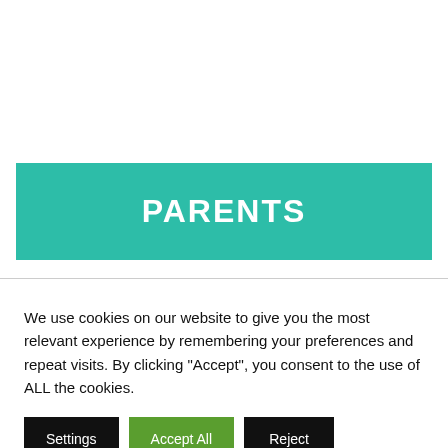PARENTS
We use cookies on our website to give you the most relevant experience by remembering your preferences and repeat visits. By clicking “Accept”, you consent to the use of ALL the cookies.
Settings
Accept All
Reject